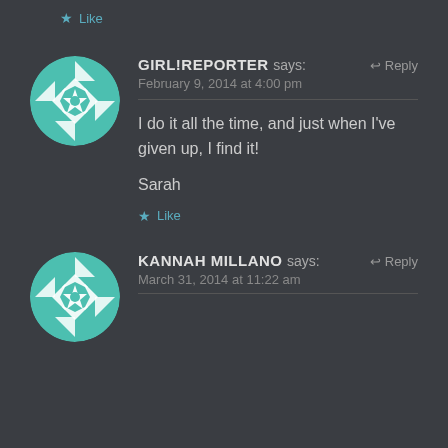★ Like
[Figure (illustration): Circular avatar with teal/white geometric quilt pattern for user GIRL!REPORTER]
GIRL!REPORTER says:
February 9, 2014 at 4:00 pm
I do it all the time, and just when I've given up, I find it!

Sarah
★ Like
[Figure (illustration): Circular avatar with teal/white geometric quilt pattern for user KANNAH MILLANO]
KANNAH MILLANO says:
March 31, 2014 at 11:22 am